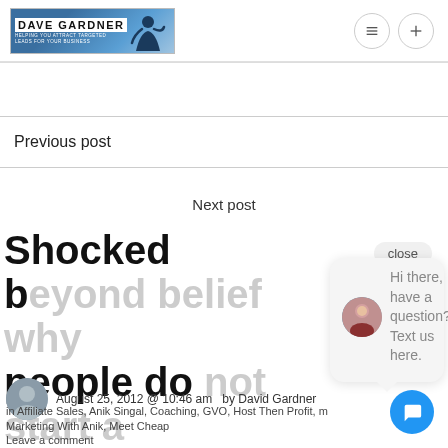DAVE GARDNER - HELPING YOU ATTRACT TARGETED LEADS FOR YOUR BUSINESS
Previous post
Next post
Shocked beyond belief why people do business with Anik Singal
August 25, 2012 @ 10:46 am  by David Gardner
in Affiliate Sales, Anik Singal, Coaching, GVO, Host Then Profit, m Marketing With Anik, Meet Cheap
Leave a comment
[Figure (other): Chat popup widget with avatar and message: Hi there, have a question? Text us here. With close button and blue chat bubble button.]